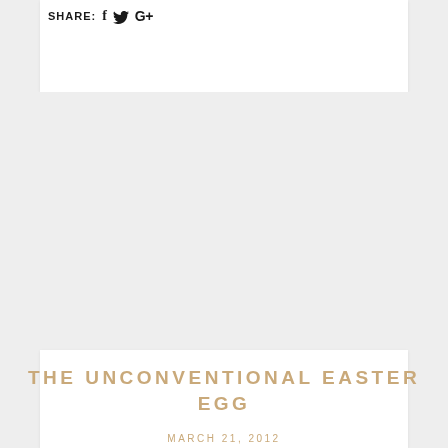SHARE: f  [twitter]  G+
THE UNCONVENTIONAL EASTER EGG
MARCH 21, 2012